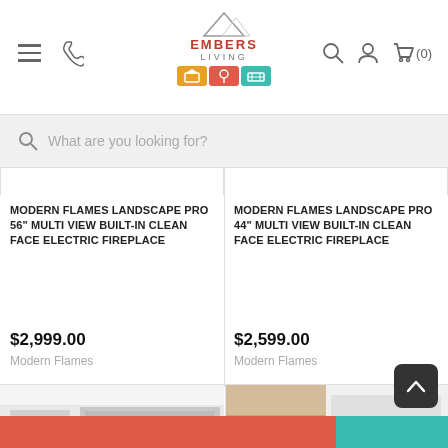[Figure (screenshot): Embers Living website header with hamburger menu, phone icon, logo with mountain graphic and colorful icon strip, search icon, account icon, and cart icon showing (0)]
[Figure (screenshot): Search bar with magnifying glass icon and placeholder text 'What are you looking for?']
MODERN FLAMES LANDSCAPE PRO 56" MULTI VIEW BUILT-IN CLEAN FACE ELECTRIC FIREPLACE
$2,999.00
Modern Flames
MODERN FLAMES LANDSCAPE PRO 44" MULTI VIEW BUILT-IN CLEAN FACE ELECTRIC FIREPLACE
$2,599.00
Modern Flames
[Figure (photo): Partial product image showing a fireplace installed on a wall with artwork]
[Figure (photo): Partial product image showing a fireplace with wood cabinet surround]